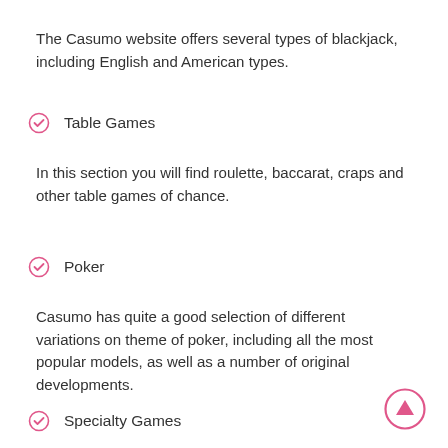The Casumo website offers several types of blackjack, including English and American types.
Table Games
In this section you will find roulette, baccarat, craps and other table games of chance.
Poker
Casumo has quite a good selection of different variations on theme of poker, including all the most popular models, as well as a number of original developments.
Specialty Games